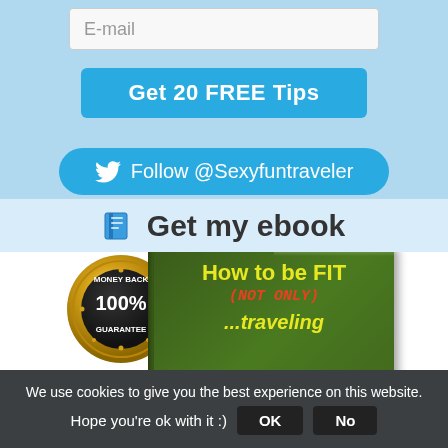[Figure (screenshot): Email input field placeholder text]
[Figure (screenshot): Blue button labeled Get 20 FREE Tips]
[Figure (screenshot): Blue Twitter follow button labeled Follow @Sexyfuntraveler]
[Figure (screenshot): Get my ebook banner with book icon]
[Figure (illustration): Ebook cover showing How to be FIT (NOT ONLY) traveling with 100% Money Back Guarantee medal]
We use cookies to give you the best experience on this website. Hope you're ok with it :)
OK
No